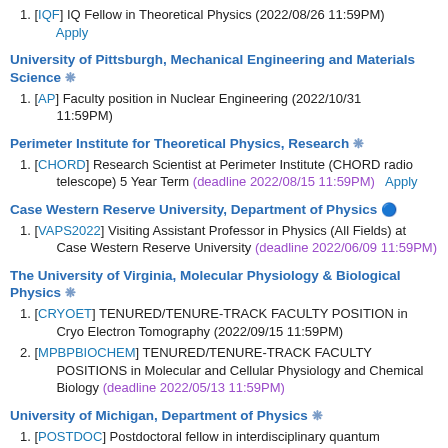[IQF] IQ Fellow in Theoretical Physics (2022/08/26 11:59PM) Apply
University of Pittsburgh, Mechanical Engineering and Materials Science
[AP] Faculty position in Nuclear Engineering (2022/10/31 11:59PM)
Perimeter Institute for Theoretical Physics, Research
[CHORD] Research Scientist at Perimeter Institute (CHORD radio telescope) 5 Year Term (deadline 2022/08/15 11:59PM) Apply
Case Western Reserve University, Department of Physics
[VAPS2022] Visiting Assistant Professor in Physics (All Fields) at Case Western Reserve University (deadline 2022/06/09 11:59PM)
The University of Virginia, Molecular Physiology & Biological Physics
[CRYOET] TENURED/TENURE-TRACK FACULTY POSITION in Cryo Electron Tomography (2022/09/15 11:59PM)
[MPBPBIOCHEM] TENURED/TENURE-TRACK FACULTY POSITIONS in Molecular and Cellular Physiology and Chemical Biology (deadline 2022/05/13 11:59PM)
University of Michigan, Department of Physics
[POSTDOC] Postdoctoral fellow in interdisciplinary quantum materials